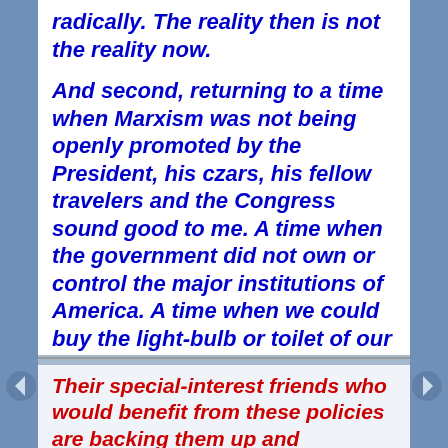radically. The reality then is not the reality now.
And second, returning to a time when Marxism was not being openly promoted by the President, his czars, his fellow travelers and the Congress sound good to me. A time when the government did not own or control the major institutions of America. A time when we could buy the light-bulb or toilet of our choice. A time of American achievement and world respect.
Their special-interest friends who would benefit from these policies are backing them up and funneling